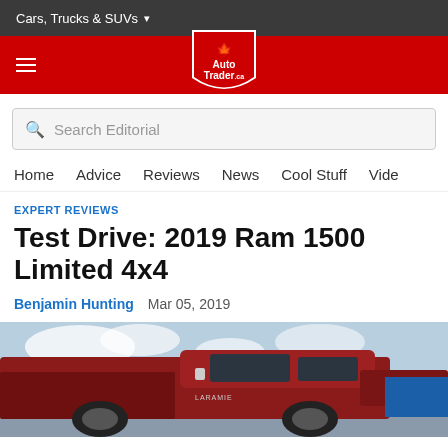Cars, Trucks & SUVs ▾
[Figure (logo): AutoTrader.ca logo in white shield badge on red navigation bar]
Search Editorial
Home   Advice   Reviews   News   Cool Stuff   Vide
EXPERT REVIEWS
Test Drive: 2019 Ram 1500 Limited 4x4
Benjamin Hunting   Mar 05, 2019
[Figure (photo): Red 2019 Ram 1500 Limited 4x4 truck photographed from the side against a partly cloudy sky]